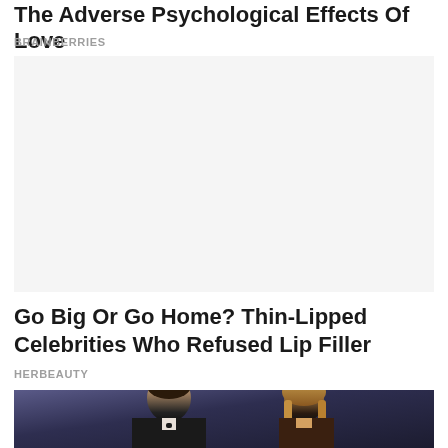The Adverse Psychological Effects Of Love
BRAINBERRIES
[Figure (other): Advertisement placeholder area (blank/white space)]
Go Big Or Go Home? Thin-Lipped Celebrities Who Refused Lip Filler
HERBEAUTY
[Figure (photo): A man in a tuxedo with bow tie and a woman with long blonde hair at what appears to be a formal event, with a blurred dark blue background]